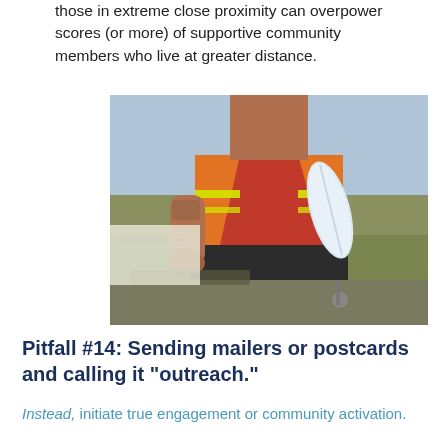those in extreme close proximity can overpower scores (or more) of supportive community members who live at greater distance.
[Figure (photo): Construction worker in red shirt and orange safety vest holding rolled blueprints, standing at a work site outdoors.]
Pitfall #14: Sending mailers or postcards and calling it “outreach.”
Instead, initiate true engagement or community activation.